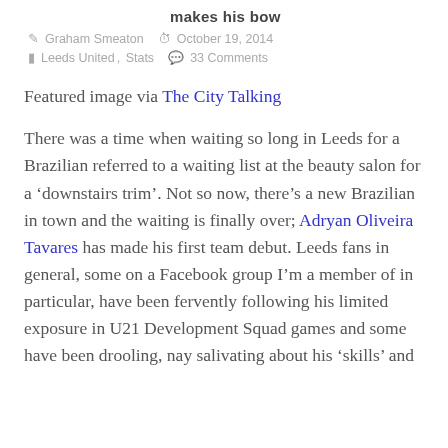makes his bow
Graham Smeaton   October 19, 2014
Leeds United, Stats   33 Comments
Featured image via The City Talking
There was a time when waiting so long in Leeds for a Brazilian referred to a waiting list at the beauty salon for a ‘downstairs trim’. Not so now, there’s a new Brazilian in town and the waiting is finally over; Adryan Oliveira Tavares has made his first team debut. Leeds fans in general, some on a Facebook group I’m a member of in particular, have been fervently following his limited exposure in U21 Development Squad games and some have been drooling, nay salivating about his ‘skills’ and